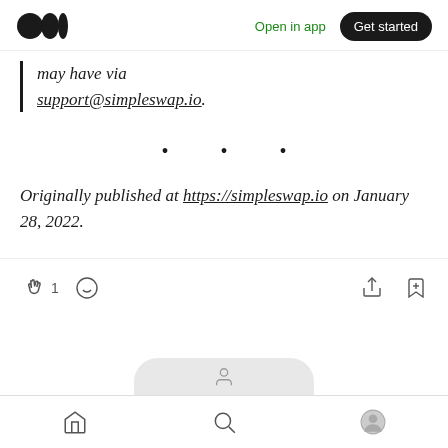Medium app header with logo, Open in app, Get started
may have via support@simpleswap.io.
. . .
Originally published at https://simpleswap.io on January 28, 2022.
[Figure (infographic): Action bar with clap icon showing count 1, comment icon, share icon, and bookmark-plus icon]
Mobile navigation bar with home, search, and profile icons